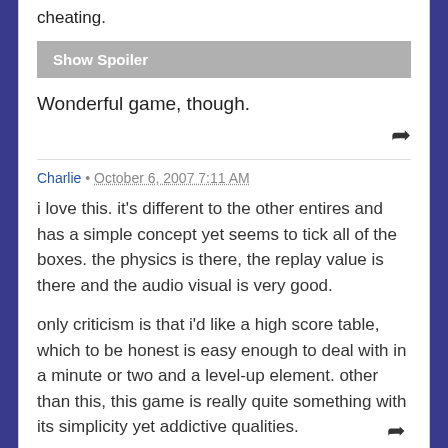cheating.
Show Spoiler
Wonderful game, though.
Charlie • October 6, 2007 7:11 AM
i love this. it's different to the other entires and has a simple concept yet seems to tick all of the boxes. the physics is there, the replay value is there and the audio visual is very good.
only criticism is that i'd like a high score table, which to be honest is easy enough to deal with in a minute or two and a level-up element. other than this, this game is really quite something with its simplicity yet addictive qualities.
definitely up there as a winner with angular momentum and jabo! 9/10! well done.